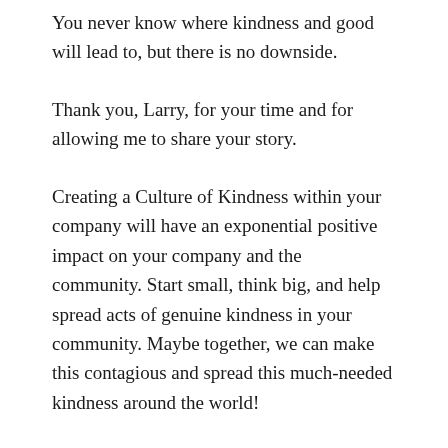You never know where kindness and good will lead to, but there is no downside.
Thank you, Larry, for your time and for allowing me to share your story.
Creating a Culture of Kindness within your company will have an exponential positive impact on your company and the community. Start small, think big, and help spread acts of genuine kindness in your community. Maybe together, we can make this contagious and spread this much-needed kindness around the world!